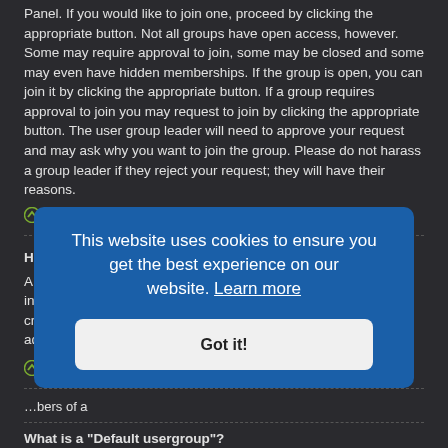Panel. If you would like to join one, proceed by clicking the appropriate button. Not all groups have open access, however. Some may require approval to join, some may be closed and some may even have hidden memberships. If the group is open, you can join it by clicking the appropriate button. If a group requires approval to join you may request to join by clicking the appropriate button. The user group leader will need to approve your request and may ask why you want to join the group. Please do not harass a group leader if they reject your request; they will have their reasons.
Top
How do I become a usergroup leader?
A usergroup leader is usually assigned when usergroups are initially created by a board administrator. If you are interested in creating a usergroup, your first point of contact should be an administrator; try sending a private message.
Top
...bers of a
What is a "Default usergroup"?
If you are a member of more than one usergroup, your default is used to
This website uses cookies to ensure you get the best experience on our website. Learn more
Got it!